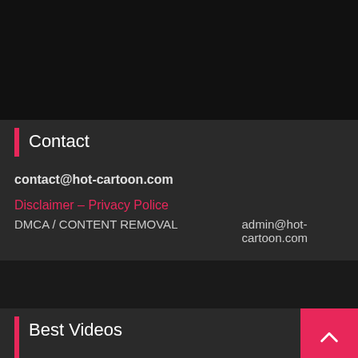Contact
contact@hot-cartoon.com
Disclaimer – Privacy Police
DMCA / CONTENT REMOVAL    admin@hot-cartoon.com
Best Videos
Partner